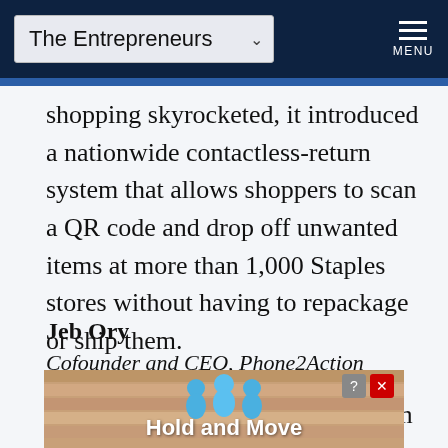The Entrepreneurs  MENU
shopping skyrocketed, it introduced a nationwide contactless-return system that allows shoppers to scan a QR code and drop off unwanted items at more than 1,000 Staples stores without having to repackage or ship them.
Jeb Ory
Cofounder and CEO, Phone2Action
After receiving an investment from
[Figure (screenshot): Advertisement banner reading 'Hold and Move' with person icons and close/help buttons]